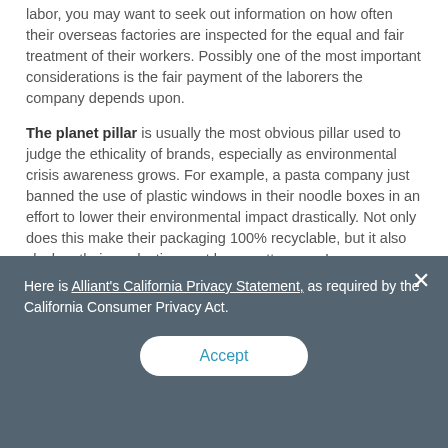labor, you may want to seek out information on how often their overseas factories are inspected for the equal and fair treatment of their workers. Possibly one of the most important considerations is the fair payment of the laborers the company depends upon.
The planet pillar is usually the most obvious pillar used to judge the ethicality of brands, especially as environmental crisis awareness grows. For example, a pasta company just banned the use of plastic windows in their noodle boxes in an effort to lower their environmental impact drastically. Not only does this make their packaging 100% recyclable, but it also slashes their production cost by a pretty penny!
Take a look at what resources are used in not only the product itself, but the packaging it's encased in. Brands that are driven to reduced planet impact will commit to renewable energy
Here is Alliant's California Privacy Statement, as required by the California Consumer Privacy Act.